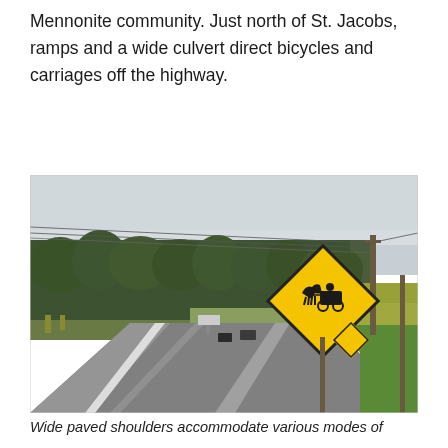Mennonite community. Just north of St. Jacobs, ramps and a wide culvert direct bicycles and carriages off the highway.
[Figure (photo): Photograph of a rural highway near St. Jacobs showing wide paved shoulders, a row of trees on the left, corn fields on the right, utility poles, and a yellow diamond-shaped warning sign depicting a horse-drawn carriage.]
Wide paved shoulders accommodate various modes of